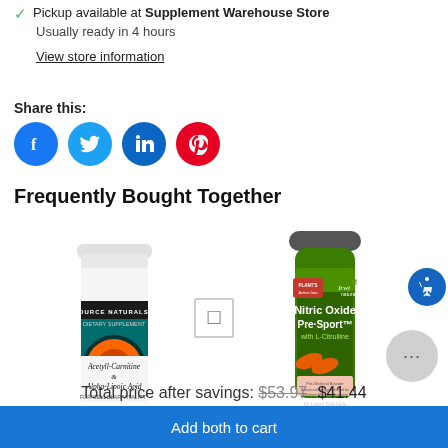Pickup available at Supplement Warehouse Store
Usually ready in 4 hours
View store information
Share this:
[Figure (infographic): Four social media share icons: Facebook (blue), Twitter (cyan), LinkedIn (blue), Pinterest (red)]
Frequently Bought Together
[Figure (photo): Source Naturals Acetyll-Carnitine & Alpha-Lipoic Acid supplement bottle (white) and Irwin Naturals Nitric Oxide Pre-Sport with L-Citrulline supplement bottle (green), shown side by side with a plus checkbox between them]
Total price after savings: $53.97 $41.44
Add both to cart